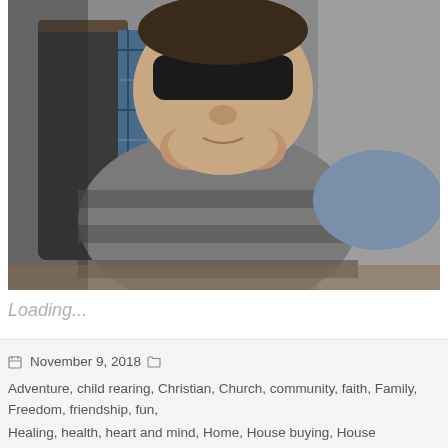[Figure (photo): A child wearing a black eye mask (like a superhero or bandit mask) sitting on a chair, holding something near their mouth, wearing a gray and dark striped shirt. The photo is taken indoors, slightly dark.]
Loading...
November 9, 2018  Adventure, child rearing, Christian, Church, community, faith, Family, Freedom, friendship, fun, Healing, health, heart and mind, Home, House buying, House